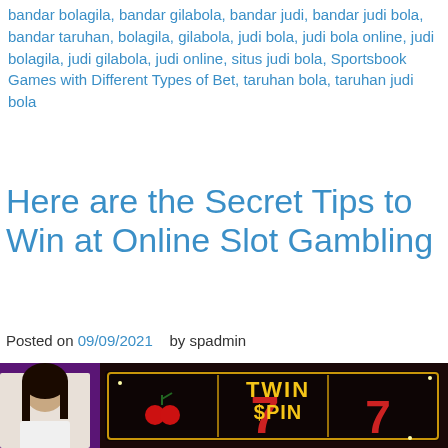bandar bolagila, bandar gilabola, bandar judi, bandar judi bola, bandar taruhan, bolagila, gilabola, judi bola, judi bola online, judi bolagila, judi gilabola, judi online, situs judi bola, Sportsbook Games with Different Types of Bet, taruhan bola, taruhan judi bola
Here are the Secret Tips to Win at Online Slot Gambling
Posted on 09/09/2021   by spadmin
[Figure (photo): Promotional image for online slot gambling showing a young Asian woman in white clothing next to a slot machine display with 'TWIN SPIN' title and 777 symbols on a dark background]